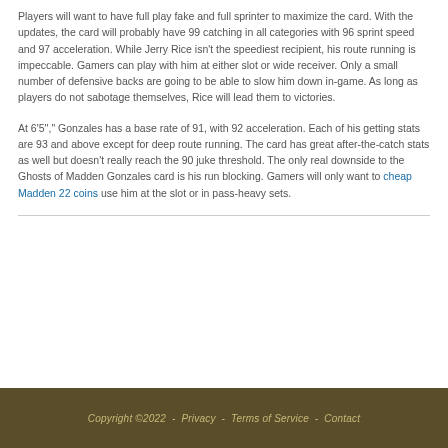Players will want to have full play fake and full sprinter to maximize the card. With the updates, the card will probably have 99 catching in all categories with 96 sprint speed and 97 acceleration. While Jerry Rice isn't the speediest recipient, his route running is impeccable. Gamers can play with him at either slot or wide receiver. Only a small number of defensive backs are going to be able to slow him down in-game. As long as players do not sabotage themselves, Rice will lead them to victories.
At 6'5'','' Gonzales has a base rate of 91, with 92 acceleration. Each of his getting stats are 93 and above except for deep route running. The card has great after-the-catch stats as well but doesn't really reach the 90 juke threshold. The only real downside to the Ghosts of Madden Gonzales card is his run blocking. Gamers will only want to cheap Madden 22 coins use him at the slot or in pass-heavy sets.
Copyright ©2022  -  Privacy  -  Terms of Service  -  Contact